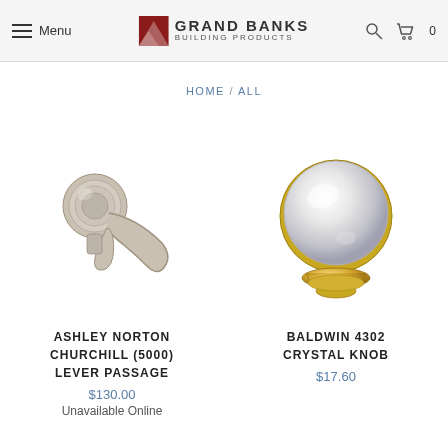Menu | GRAND BANKS BUILDING PRODUCTS | Search | Cart 0
HOME / ALL
[Figure (photo): Ashley Norton Churchill (5000) Lever Passage door handle in brushed nickel finish]
ASHLEY NORTON CHURCHILL (5000) LEVER PASSAGE
$130.00
Unavailable Online
[Figure (photo): Baldwin 4302 Crystal Knob with clear crystal ball and gold base]
BALDWIN 4302 CRYSTAL KNOB
$17.60